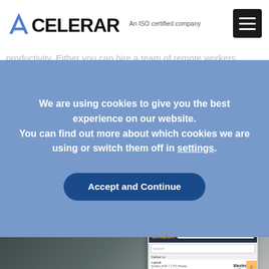[Figure (logo): Acelerar logo with blue/dark triangular A and bold sans-serif text, tagline 'An ISO certified company']
productivity. Either you can hire a team of remote workers
We are using cookies to give you the best experience on our website.
You can find out more about which cookies we are using or switch them off in settings.
Accept and Continue
[Figure (photo): Hand holding a smartphone displaying the Amazon website with search bar and Electronics gift guide visible]